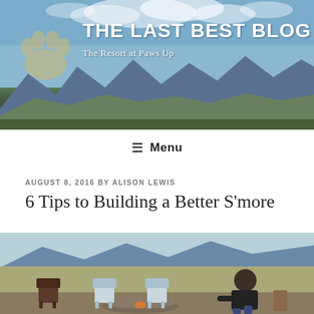[Figure (photo): Blog header banner with mountain landscape background, paw print logo on left, site title 'THE LAST BEST BLOG' in bold white, tagline 'The Resort at Paws Up' below]
≡ Menu
AUGUST 8, 2016 BY ALISON LEWIS
6 Tips to Building a Better S'more
[Figure (photo): Outdoor scene with person crouching at a fire pit surrounded by Adirondack chairs on an open field with mountains in background]